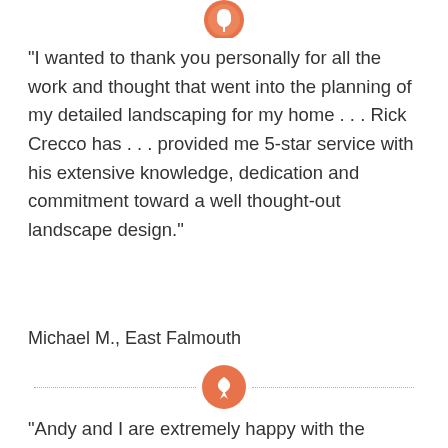[Figure (logo): Orange circular icon with a leaf/sprout symbol at top of page]
“I wanted to thank you personally for all the work and thought that went into the planning of my detailed landscaping for my home . . . Rick Crecco has . . . provided me 5-star service with his extensive knowledge, dedication and commitment toward a well thought-out landscape design.”
Michael M., East Falmouth
[Figure (logo): Orange circular icon with a leaf/down-arrow symbol used as divider between testimonials]
“Andy and I are extremely happy with the finished landscaping project on a very challenging piece of property. We had no idea how difficult this would be…